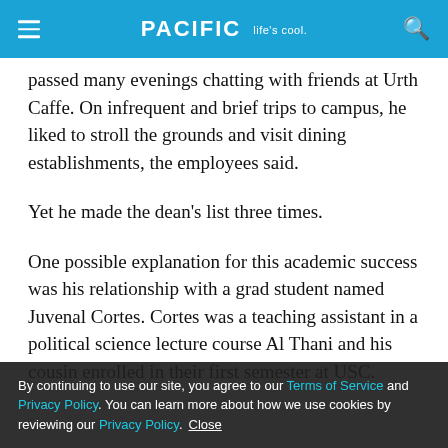PACIFIC Life's cool
passed many evenings chatting with friends at Urth Caffe. On infrequent and brief trips to campus, he liked to stroll the grounds and visit dining establishments, the employees said.
Yet he made the dean’s list three times.
One possible explanation for this academic success was his relationship with a grad student named Juvenal Cortes. Cortes was a teaching assistant in a political science lecture course Al Thani and his cousin enrolled in their first semester at USC.
By continuing to use our site, you agree to our Terms of Service and Privacy Policy. You can learn more about how we use cookies by reviewing our Privacy Policy. Close